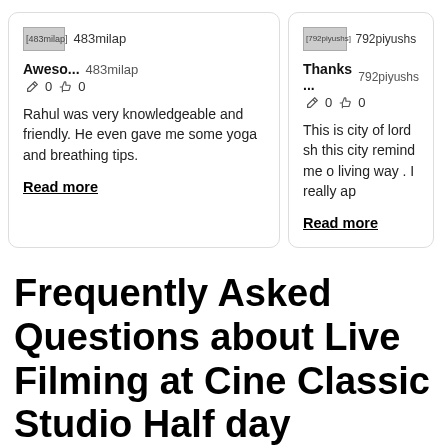[Figure (screenshot): Review card 1: Avatar placeholder '[483milap]', username '483milap', title 'Aweso...', edit and like icons with counts '0 0', review text 'Rahul was very knowledgeable and friendly. He even gave me some yoga and breathing tips.', 'Read more' link.]
[Figure (screenshot): Review card 2 (partially visible): Avatar placeholder '[792piyushs]', username '792piyushs', title 'Thanks ...', edit and like icons with counts '0 0', review text 'This is city of lord sh... this city remind me o... living way . I really ap...', 'Read more' link.]
Frequently Asked Questions about Live Filming at Cine Classic Studio Half day Tour(for Non Indians)
How visiting Live Filming at Cine Classic Studio...